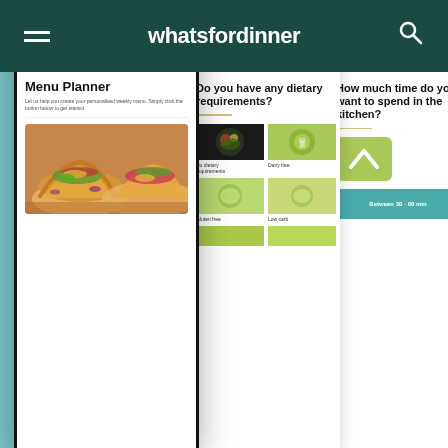[Figure (screenshot): Mobile app UI mockup for 'whatsfordinner' showing three phone screens: 1) Menu Planner screen with taco food photo, 2) Dietary requirements selection screen with food images (No dietary requirements, Dairy free, Gluten free, Low carb), 3) Kitchen time screen asking 'How much time do you want to spend in the kitchen?' with a green chevron selector and teal time option 'Between 30-60 min'. All screens show the whatsfordinner dark green navigation bar with hamburger menu and search icon. Background is teal/mint color.]